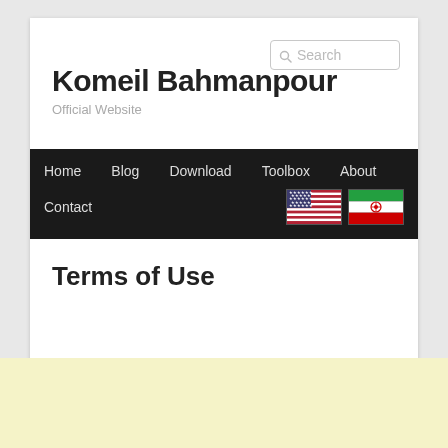Search
Komeil Bahmanpour
Official Website
Home  Blog  Download  Toolbox  About  Contact
[Figure (illustration): US flag and Iranian flag icons in the navigation bar]
Terms of Use